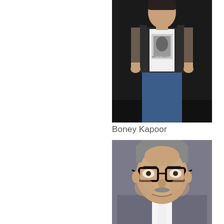[Figure (photo): A man wearing a white graphic t-shirt with a Marlon Brando print, a dark sleeveless vest/jacket, and blue jeans, standing against a dark background. Full-body shot.]
Boney Kapoor
[Figure (photo): Close-up portrait of a middle-aged man with salt-and-pepper hair, wearing thick dark-rimmed glasses, a grey blazer and white shirt, smiling slightly.]